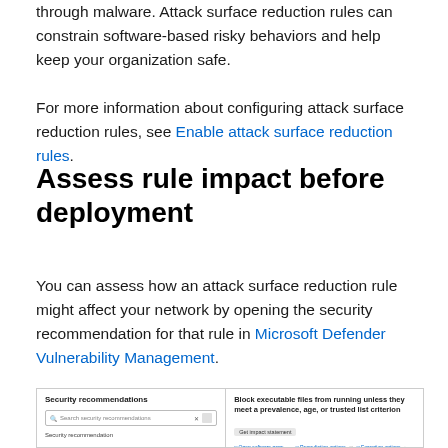through malware. Attack surface reduction rules can constrain software-based risky behaviors and help keep your organization safe.
For more information about configuring attack surface reduction rules, see Enable attack surface reduction rules.
Assess rule impact before deployment
You can assess how an attack surface reduction rule might affect your network by opening the security recommendation for that rule in Microsoft Defender Vulnerability Management.
[Figure (screenshot): Screenshot showing Security recommendations panel on the left with a search box, and on the right a panel showing 'Block executable files from running unless they meet a prevalence, age, or trusted list criterion' with action buttons.]